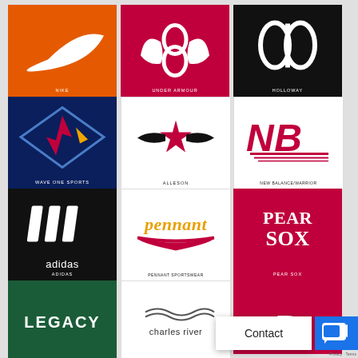[Figure (logo): Nike logo (white swoosh on orange background)]
[Figure (logo): Under Armour logo (white UA mark on red/crimson background)]
[Figure (logo): Holloway logo (white football/oval shapes on black background)]
[Figure (logo): Wave One Sports logo (lightning bolt diamond shape on dark blue background)]
[Figure (logo): Alleson logo (black star with wings on white background)]
[Figure (logo): New Balance/Warrior logo (red NB letters on white background)]
[Figure (logo): Adidas logo (white three stripes and adidas text on black background)]
[Figure (logo): Pennant Sportswear logo (gold pennant text with red swoosh on white background)]
[Figure (logo): Pear Sox logo (white Pear Sox text on crimson background)]
[Figure (logo): Legacy logo (white LEGACY text on dark green background)]
[Figure (logo): Charles River logo (wave symbol and charles river text on white background)]
Contact